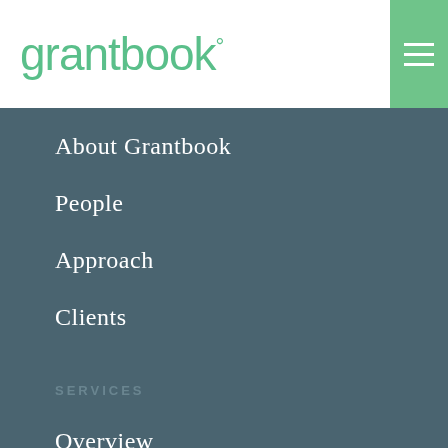grantbook°
About Grantbook
People
Approach
Clients
SERVICES
Overview
Software Selection
Implementation
Ongoing Service & Support